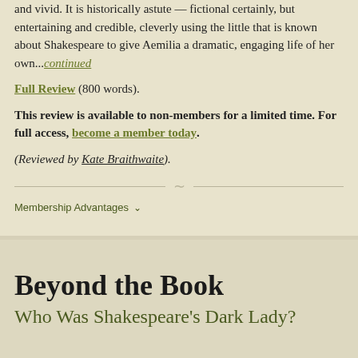and vivid. It is historically astute — fictional certainly, but entertaining and credible, cleverly using the little that is known about Shakespeare to give Aemilia a dramatic, engaging life of her own...continued
Full Review (800 words).
This review is available to non-members for a limited time. For full access, become a member today.
(Reviewed by Kate Braithwaite).
Membership Advantages
Beyond the Book
Who Was Shakespeare's Dark Lady?